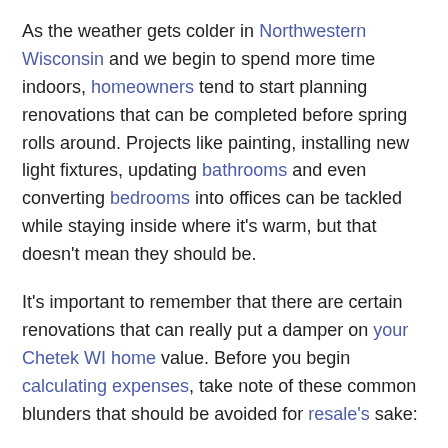As the weather gets colder in Northwestern Wisconsin and we begin to spend more time indoors, homeowners tend to start planning renovations that can be completed before spring rolls around. Projects like painting, installing new light fixtures, updating bathrooms and even converting bedrooms into offices can be tackled while staying inside where it's warm, but that doesn't mean they should be.
It's important to remember that there are certain renovations that can really put a damper on your Chetek WI home value. Before you begin calculating expenses, take note of these common blunders that should be avoided for resale's sake:
Removing a bedroom
Regardless of your plans for removing a bedroom—